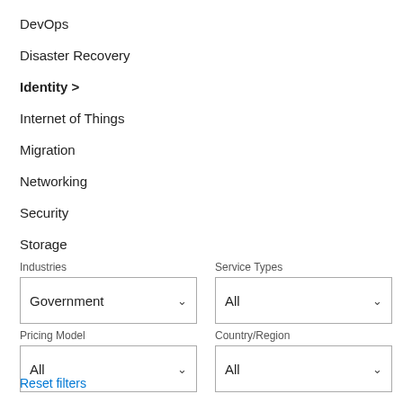DevOps
Disaster Recovery
Identity >
Internet of Things
Migration
Networking
Security
Storage
Industries
Government
Service Types
All
Pricing Model
All
Country/Region
All
Reset filters